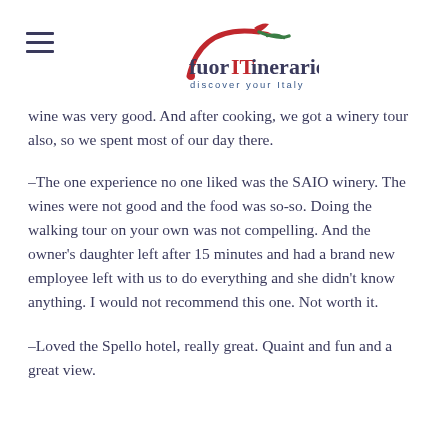fuorITinerario – discover your Italy
wine was very good. And after cooking, we got a winery tour also, so we spent most of our day there.
–The one experience no one liked was the SAIO winery. The wines were not good and the food was so-so. Doing the walking tour on your own was not compelling. And the owner's daughter left after 15 minutes and had a brand new employee left with us to do everything and she didn't know anything. I would not recommend this one. Not worth it.
–Loved the Spello hotel, really great. Quaint and fun and a great view.